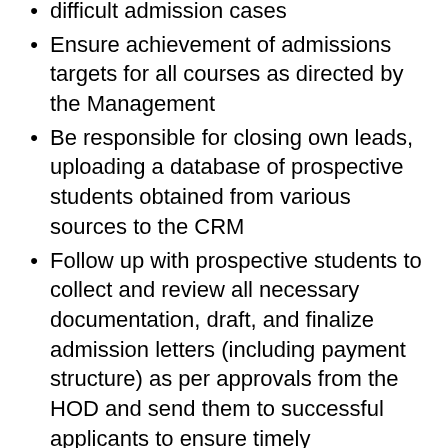difficult admission cases
Ensure achievement of admissions targets for all courses as directed by the Management
Be responsible for closing own leads, uploading a database of prospective students obtained from various sources to the CRM
Follow up with prospective students to collect and review all necessary documentation, draft, and finalize admission letters (including payment structure) as per approvals from the HOD and send them to successful applicants to ensure timely admissions.
Arrange and schedule admissions interviews for the applicants